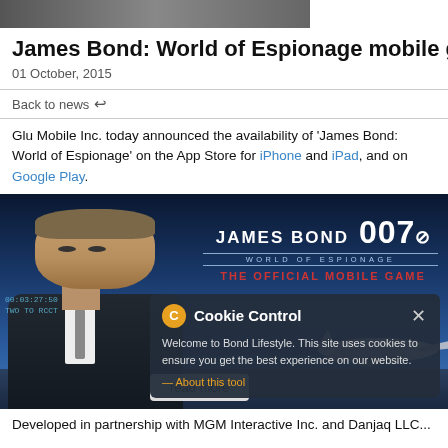[Figure (photo): Top strip showing partial photo/image header]
James Bond: World of Espionage mobile game
01 October, 2015
Back to news
Glu Mobile Inc. today announced the availability of 'James Bond: World of Espionage' on the App Store for iPhone and iPad, and on Google Play.
[Figure (photo): James Bond 007 World of Espionage - The Official Mobile Game promotional image showing Daniel Craig as Bond, with Cookie Control popup overlay and read more button]
Developed in partnership with MGM Interactive Inc. and Danjaq LLC...